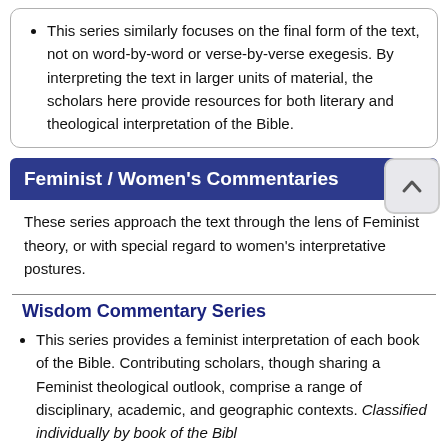This series similarly focuses on the final form of the text, not on word-by-word or verse-by-verse exegesis. By interpreting the text in larger units of material, the scholars here provide resources for both literary and theological interpretation of the Bible.
Feminist / Women's Commentaries
These series approach the text through the lens of Feminist theory, or with special regard to women's interpretative postures.
Wisdom Commentary Series
This series provides a feminist interpretation of each book of the Bible. Contributing scholars, though sharing a Feminist theological outlook, comprise a range of disciplinary, academic, and geographic contexts. Classified individually by book of the Bible.